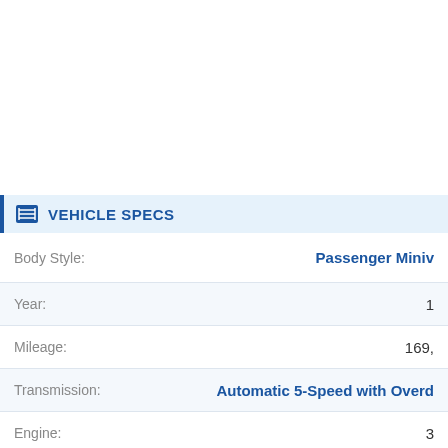VEHICLE SPECS
| Field | Value |
| --- | --- |
| Body Style: | Passenger Miniv… |
| Year: | 1… |
| Mileage: | 169,… |
| Transmission: | Automatic 5-Speed with Overd… |
| Engine: | 3… |
| Drivetrain: | FWD - Front Wheel D… |
| Color: | Si… |